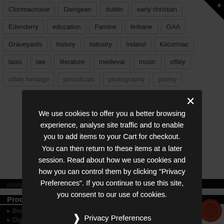Clonmacnoise | Daingean | dublin | early christian
Edenderry | education | Famine | ferbane | GAA
Graveyards | history | industry | Ireland | Kilcormac
laois | law | literature | medieval | music | offaly
offaly heritage | periodicals | photography | poetry
politics | ... | rose... | ...el
Tullamore | ... | ...
Products
We use cookies to offer you a better browsing experience, analyse site traffic and to enable you to add items to your Cart for checkout. You can then return to these items at a later session. Read about how we use cookies and how you can control them by clicking "Privacy Preferences". If you continue to use this site, you consent to our use of cookies.
Privacy Preferences
I Agree
Books (439)
Digital Media (1)
Family History Resources (4)